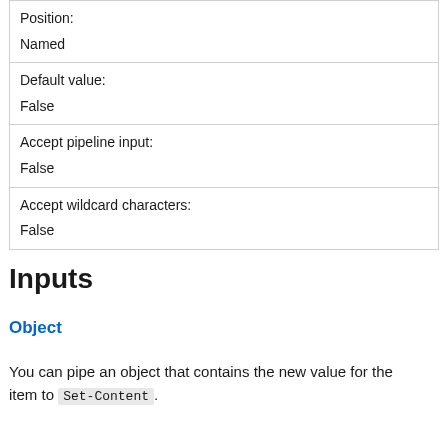| Position: | Named |
| Default value: | False |
| Accept pipeline input: | False |
| Accept wildcard characters: | False |
Inputs
Object
You can pipe an object that contains the new value for the item to Set-Content.